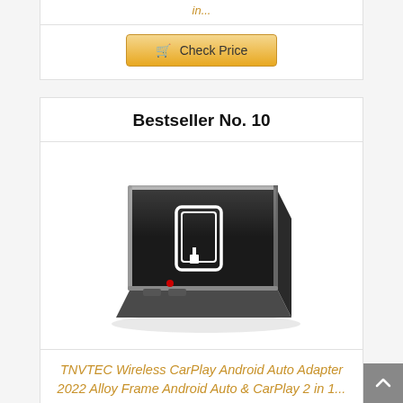in...
[Figure (other): Check Price button (top card, partial previous listing)]
Bestseller No. 10
[Figure (photo): TNVTEC Wireless CarPlay Android Auto Adapter device - a black rectangular adapter with metallic frame and a USB icon on top]
TNVTEC Wireless CarPlay Android Auto Adapter 2022 Alloy Frame Android Auto & CarPlay 2 in 1...
[Figure (other): Check Price button (bottom, partially visible)]